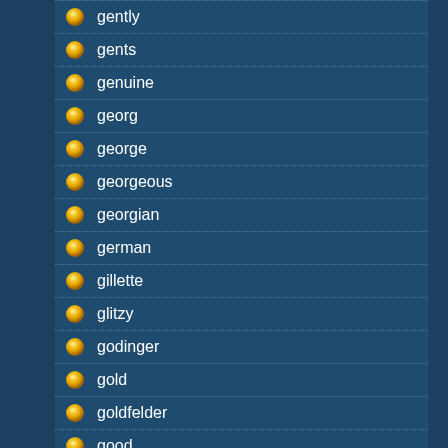gently
gents
genuine
georg
george
georgeous
georgian
german
gillette
glitzy
godinger
gold
goldfelder
good
goodwill